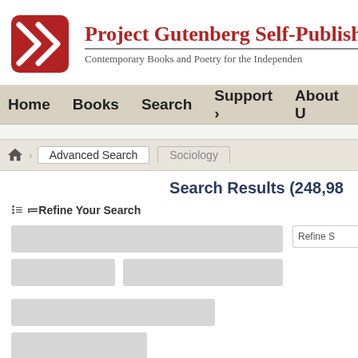Project Gutenberg Self-Publishing Press — Contemporary Books and Poetry for the Independent Author
Home | Books | Search | Support | About Us
Advanced Search > Sociology
Search Results (248,98...)
≔ Refine Your Search
[Figure (screenshot): Placeholder loading blocks for search result listings]
Refine S...